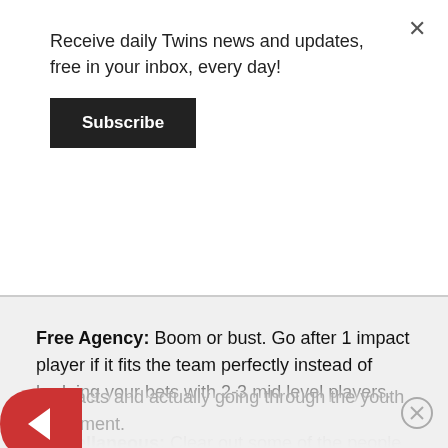Receive daily Twins news and updates, free in your inbox, every day!
Subscribe
Free Agency: Boom or bust. Go after 1 impact player if it fits the team perfectly instead of hedging your bets with 2-3 mid level players.
Miscellaneous: Clear out some of the people in the organization from the old regime to bring in new people who fit the culture. "Success" at this point is getting this organization healthier by shedding old contracts and actually going through the youth movement.